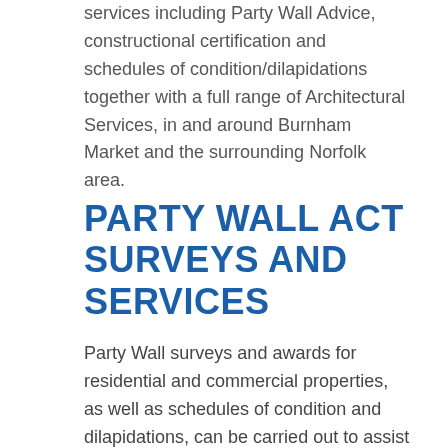services including Party Wall Advice, constructional certification and schedules of condition/dilapidations together with a full range of Architectural Services, in and around Burnham Market and the surrounding Norfolk area.
PARTY WALL ACT SURVEYS AND SERVICES
Party Wall surveys and awards for residential and commercial properties, as well as schedules of condition and dilapidations, can be carried out to assist you.